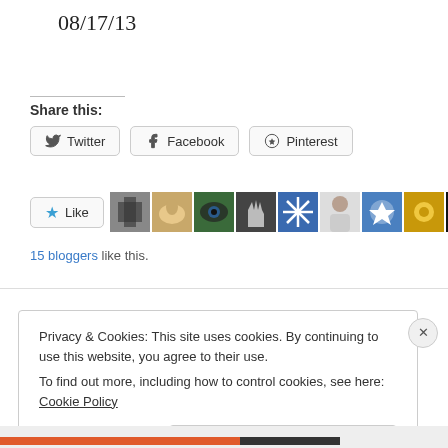08/17/13
Share this:
Twitter  Facebook  Pinterest
[Figure (other): Like button with star icon followed by a strip of 10 blogger avatar thumbnails]
15 bloggers like this.
Privacy & Cookies: This site uses cookies. By continuing to use this website, you agree to their use.
To find out more, including how to control cookies, see here: Cookie Policy
Close and accept